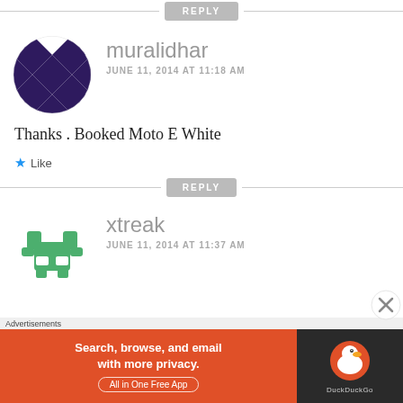[Figure (other): REPLY button centered with horizontal lines on each side]
[Figure (illustration): Avatar for user muralidhar: circular geometric pattern with dark purple/navy diamonds and stars on white background]
muralidhar
JUNE 11, 2014 AT 11:18 AM
Thanks . Booked Moto E White
★ Like
[Figure (other): REPLY button centered with horizontal lines on each side]
[Figure (illustration): Avatar for user xtreak: circular green pixelated/geometric creature icon]
xtreak
JUNE 11, 2014 AT 11:37 AM
Advertisements
[Figure (other): Advertisement banner: DuckDuckGo app ad. Left orange section says 'Search, browse, and email with more privacy. All in One Free App'. Right dark section shows DuckDuckGo logo (orange circle with duck).]
[Figure (other): Close X button circle overlay on bottom right]